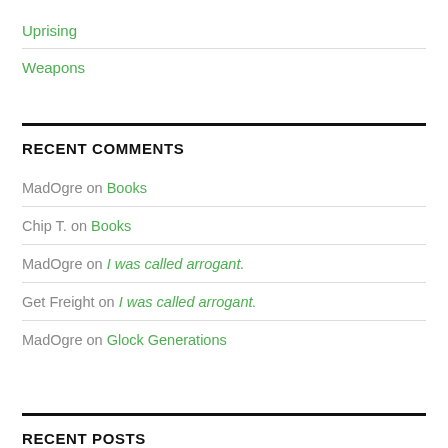Uprising
Weapons
RECENT COMMENTS
MadOgre on Books
Chip T. on Books
MadOgre on I was called arrogant.
Get Freight on I was called arrogant.
MadOgre on Glock Generations
RECENT POSTS